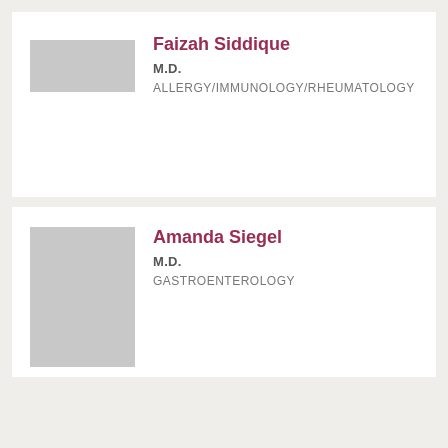[Figure (photo): Gray placeholder image for Faizah Siddique physician profile photo]
Faizah Siddique
M.D.
ALLERGY/IMMUNOLOGY/RHEUMATOLOGY
[Figure (photo): Gray placeholder image for Amanda Siegel physician profile photo]
Amanda Siegel
M.D.
GASTROENTEROLOGY